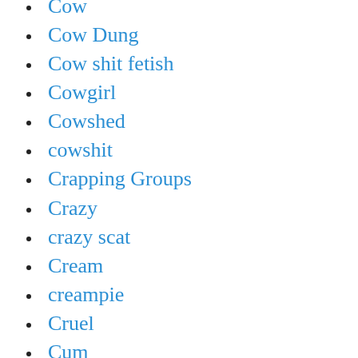Cow
Cow Dung
Cow shit fetish
Cowgirl
Cowshed
cowshit
Crapping Groups
Crazy
crazy scat
Cream
creampie
Cruel
Cum
cum in mouth
cumshot
Cunt
Curvelvishgirl